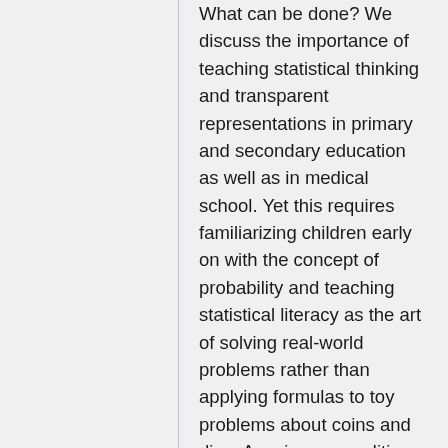What can be done? We discuss the importance of teaching statistical thinking and transparent representations in primary and secondary education as well as in medical school. Yet this requires familiarizing children early on with the concept of probability and teaching statistical literacy as the art of solving real-world problems rather than applying formulas to toy problems about coins and dice. A major precondition for statistical literacy is transparent risk communication. We